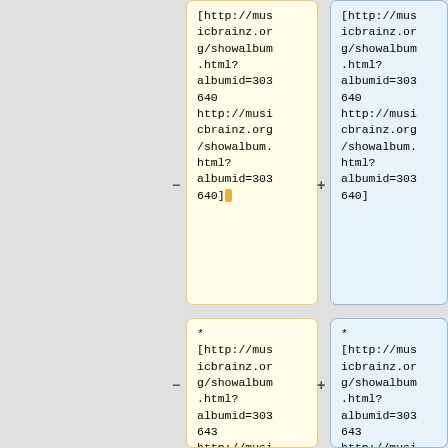[http://musicbrainz.org/showalbum.html?albumid=303640 http://musicbrainz.org/showalbum.html?albumid=303640]
[http://musicbrainz.org/showalbum.html?albumid=303640 http://musicbrainz.org/showalbum.html?albumid=303640]
* [http://musicbrainz.org/showalbum.html?albumid=303643 http://musicbrainz.org/showalbum.html?albumid=303643
* [http://musicbrainz.org/showalbum.html?albumid=303643 http://musicbrainz.org/showalbum.html?albumid=303643